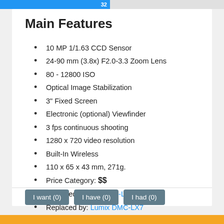Main Features
10 MP 1/1.63 CCD Sensor
24-90 mm (3.8x) F2.0-3.3 Zoom Lens
80 - 12800 ISO
Optical Image Stabilization
3" Fixed Screen
Electronic (optional) Viewfinder
3 fps continuous shooting
1280 x 720 video resolution
Built-In Wireless
110 x 65 x 43 mm, 271g.
Price Category: $$
Replaced: Lumix DMC-LX3
Replaced by: Lumix DMC-LX7